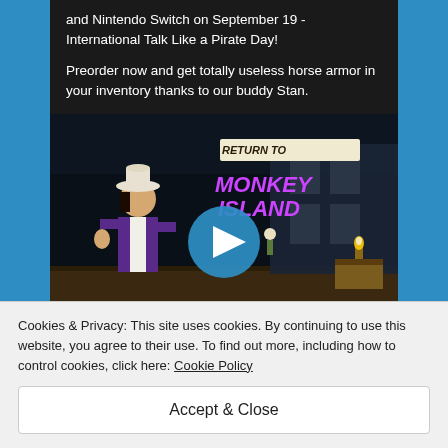and Nintendo Switch on September 19 - International Talk Like a Pirate Day!

Preorder now and get totally useless horse armor in your inventory thanks to our buddy Stan.
[Figure (screenshot): Video thumbnail for Return to Monkey Island showing a pirate character in a purple coat with the game logo and a play button overlay.]
Cookies & Privacy: This site uses cookies. By continuing to use this website, you agree to their use. To find out more, including how to control cookies, click here: Cookie Policy
Accept & Close